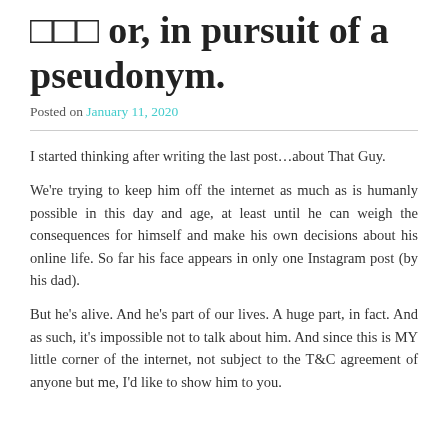□□□ or, in pursuit of a pseudonym.
Posted on January 11, 2020
I started thinking after writing the last post…about That Guy.
We're trying to keep him off the internet as much as is humanly possible in this day and age, at least until he can weigh the consequences for himself and make his own decisions about his online life. So far his face appears in only one Instagram post (by his dad).
But he's alive. And he's part of our lives. A huge part, in fact. And as such, it's impossible not to talk about him. And since this is MY little corner of the internet, not subject to the T&C agreement of anyone but me, I'd like to show him to you.